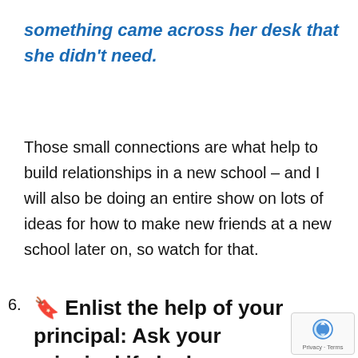something came across her desk that she didn't need.
Those small connections are what help to build relationships in a new school – and I will also be doing an entire show on lots of ideas for how to make new friends at a new school later on, so watch for that.
6. 🔖 Enlist the help of your principal: Ask your principal if she has a budget for books for new teachers, or if they know of any money that might be